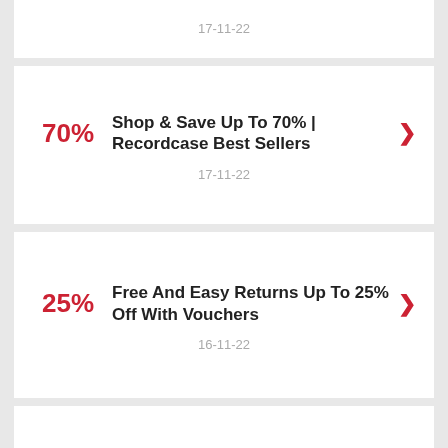17-11-22
Shop & Save Up To 70% | Recordcase Best Sellers
17-11-22
Free And Easy Returns Up To 25% Off With Vouchers
16-11-22